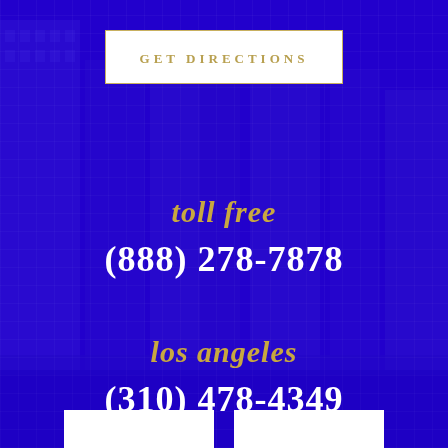[Figure (photo): Blue-tinted aerial view of Los Angeles city skyline with skyscrapers, used as background image]
GET DIRECTIONS
toll free
(888) 278-7878
los angeles
(310) 478-4349